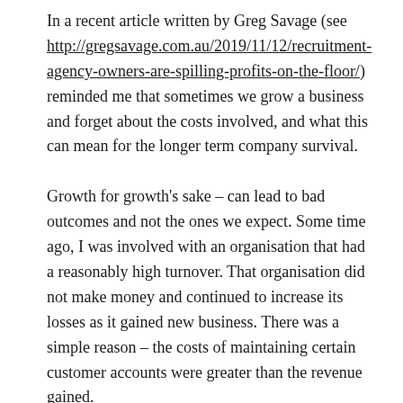In a recent article written by Greg Savage (see http://gregsavage.com.au/2019/11/12/recruitment-agency-owners-are-spilling-profits-on-the-floor/) reminded me that sometimes we grow a business and forget about the costs involved, and what this can mean for the longer term company survival.
Growth for growth's sake – can lead to bad outcomes and not the ones we expect. Some time ago, I was involved with an organisation that had a reasonably high turnover. That organisation did not make money and continued to increase its losses as it gained new business. There was a simple reason – the costs of maintaining certain customer accounts were greater than the revenue gained.
The answer was simple yet a little painful for some. Each